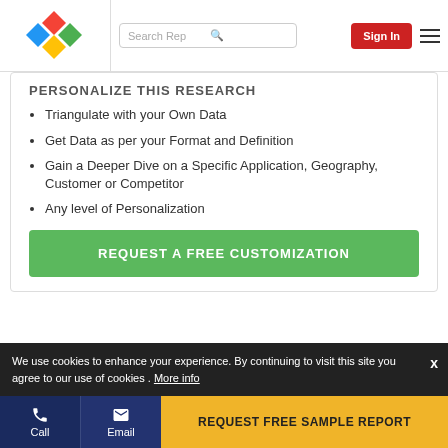Search Rep | Sign In
PERSONALIZE THIS RESEARCH
Triangulate with your Own Data
Get Data as per your Format and Definition
Gain a Deeper Dive on a Specific Application, Geography, Customer or Competitor
Any level of Personalization
REQUEST A FREE CUSTOMIZATION
LET US HELP YOU!
We use cookies to enhance your experience. By continuing to visit this site you agree to our use of cookies . More info
REQUEST FREE SAMPLE REPORT